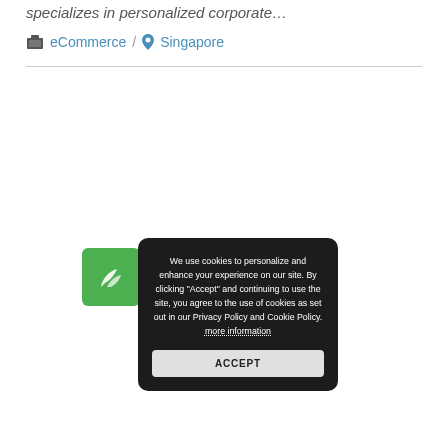specializes in personalized corporate…
eCommerce / Singapore
[Figure (screenshot): Cookie consent popup overlay with dark background showing cookie policy text and Accept button, partially overlapping a green logo that reads 'Omnitra']
We use cookies to personalize and enhance your experience on our site. By clicking "Accept" and continuing to use the site, you agree to the use of cookies as set out in our Privacy Policy and Cookie Policy. more information
ACCEPT